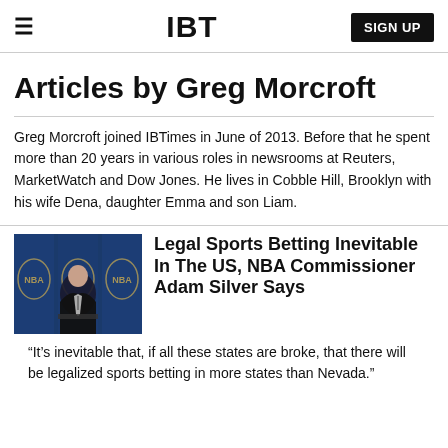≡  IBT  SIGN UP
Articles by Greg Morcroft
Greg Morcroft joined IBTimes in June of 2013. Before that he spent more than 20 years in various roles in newsrooms at Reuters, MarketWatch and Dow Jones. He lives in Cobble Hill, Brooklyn with his wife Dena, daughter Emma and son Liam.
[Figure (photo): Photo of NBA Commissioner Adam Silver at a press conference with NBA logos in the background]
Legal Sports Betting Inevitable In The US, NBA Commissioner Adam Silver Says
“It’s inevitable that, if all these states are broke, that there will be legalized sports betting in more states than Nevada.”